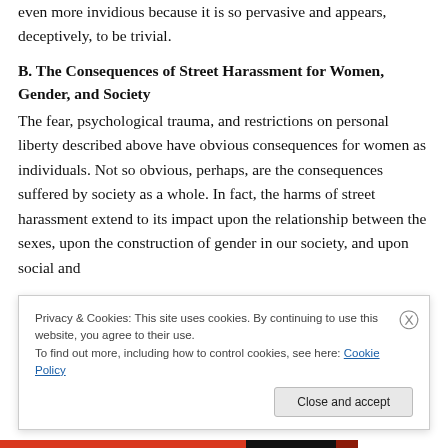even more invidious because it is so pervasive and appears, deceptively, to be trivial.
B. The Consequences of Street Harassment for Women, Gender, and Society
The fear, psychological trauma, and restrictions on personal liberty described above have obvious consequences for women as individuals. Not so obvious, perhaps, are the consequences suffered by society as a whole. In fact, the harms of street harassment extend to its impact upon the relationship between the sexes, upon the construction of gender in our society, and upon social and
Privacy & Cookies: This site uses cookies. By continuing to use this website, you agree to their use.
To find out more, including how to control cookies, see here: Cookie Policy
Close and accept